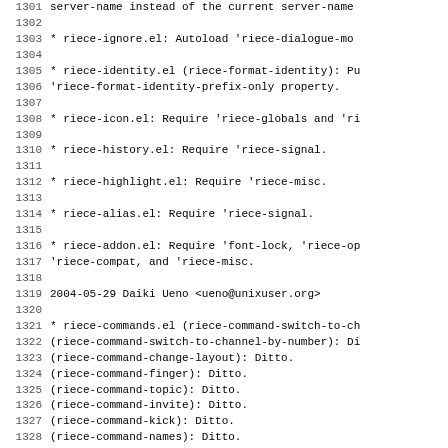1301     server-name instead of the current server-name
1302
1303     * riece-ignore.el: Autoload 'riece-dialogue-mo
1304
1305     * riece-identity.el (riece-format-identity): Pu
1306     'riece-format-identity-prefix-only property.
1307
1308     * riece-icon.el: Require 'riece-globals and 'ri
1309
1310     * riece-history.el: Require 'riece-signal.
1311
1312     * riece-highlight.el: Require 'riece-misc.
1313
1314     * riece-alias.el: Require 'riece-signal.
1315
1316     * riece-addon.el: Require 'font-lock, 'riece-op
1317     'riece-compat, and 'riece-misc.
1318
1319 2004-05-29  Daiki Ueno  <ueno@unixuser.org>
1320
1321     * riece-commands.el (riece-command-switch-to-ch
1322     (riece-command-switch-to-channel-by-number): Di
1323     (riece-command-change-layout): Ditto.
1324     (riece-command-finger): Ditto.
1325     (riece-command-topic): Ditto.
1326     (riece-command-invite): Ditto.
1327     (riece-command-kick): Ditto.
1328     (riece-command-names): Ditto.
1329     (riece-command-who): Ditto.
1330     (riece-command-list): Ditto.
1331     (riece-command-change-mode): Ditto.
1332     (riece-command-set-operators): Ditto.
1333     (riece-command-...): Ditto.